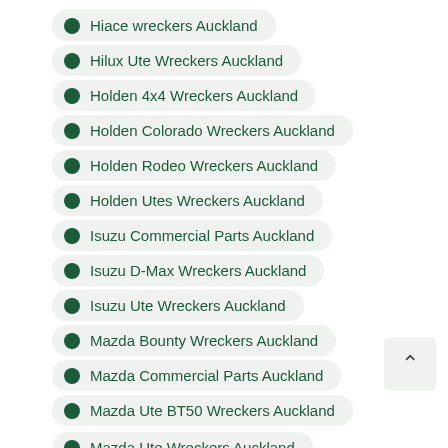Hiace wreckers Auckland
Hilux Ute Wreckers Auckland
Holden 4x4 Wreckers Auckland
Holden Colorado Wreckers Auckland
Holden Rodeo Wreckers Auckland
Holden Utes Wreckers Auckland
Isuzu Commercial Parts Auckland
Isuzu D-Max Wreckers Auckland
Isuzu Ute Wreckers Auckland
Mazda Bounty Wreckers Auckland
Mazda Commercial Parts Auckland
Mazda Ute BT50 Wreckers Auckland
Mazda Ute Wreckers Auckland